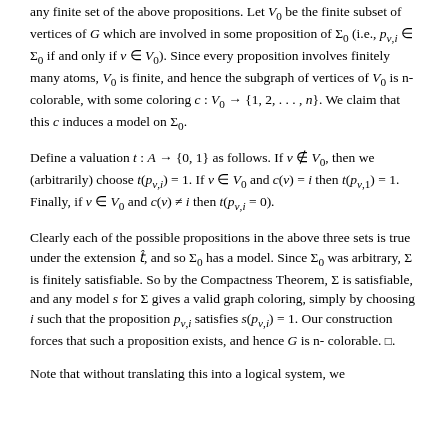any finite set of the above propositions. Let V₀ be the finite subset of vertices of G which are involved in some proposition of Σ₀ (i.e., p_{v,i} ∈ Σ₀ if and only if v ∈ V₀). Since every proposition involves finitely many atoms, V₀ is finite, and hence the subgraph of vertices of V₀ is n-colorable, with some coloring c : V₀ → {1, 2, . . . , n}. We claim that this c induces a model on Σ₀.
Define a valuation t : A → {0, 1} as follows. If v ∉ V₀, then we (arbitrarily) choose t(p_{v,i}) = 1. If v ∈ V₀ and c(v) = i then t(p_{v,1}) = 1. Finally, if v ∈ V₀ and c(v) ≠ i then t(p_{v,i} = 0).
Clearly each of the possible propositions in the above three sets is true under the extension t̂, and so Σ₀ has a model. Since Σ₀ was arbitrary, Σ is finitely satisfiable. So by the Compactness Theorem, Σ is satisfiable, and any model s for Σ gives a valid graph coloring, simply by choosing i such that the proposition p_{v,i} satisfies s(p_{v,i}) = 1. Our construction forces that such a proposition exists, and hence G is n-colorable. □.
Note that without translating this into a logical system, we